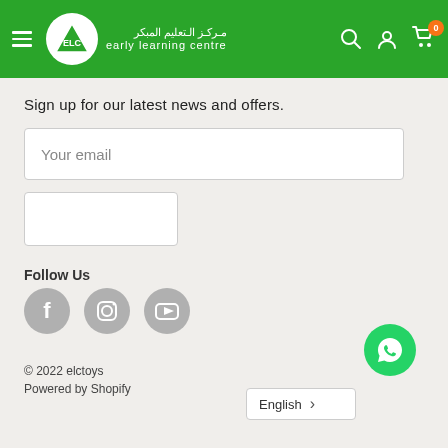[Figure (logo): Early Learning Centre header with green background, hamburger menu, ELC logo circle, Arabic and English brand name, search, account, and cart icons with badge showing 0]
Sign up for our latest news and offers.
[Figure (screenshot): Email input field with placeholder 'Your email']
[Figure (screenshot): Subscribe button (empty white box)]
Follow Us
[Figure (infographic): Three circular grey social media icons: Facebook, Instagram, YouTube]
© 2022 elctoys
Powered by Shopify